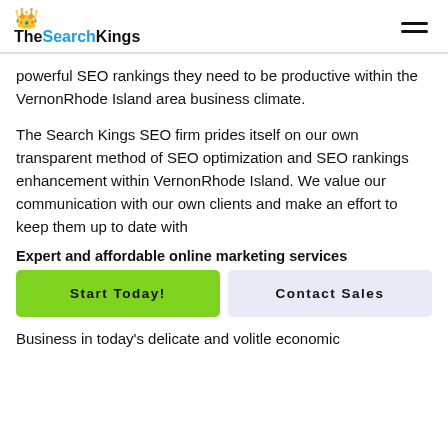TheSearchKings
powerful SEO rankings they need to be productive within the VernonRhode Island area business climate.
The Search Kings SEO firm prides itself on our own transparent method of SEO optimization and SEO rankings enhancement within VernonRhode Island. We value our communication with our own clients and make an effort to keep them up to date with
Expert and affordable online marketing services
Start Today!
Contact Sales
Business in today's delicate and volitle economic